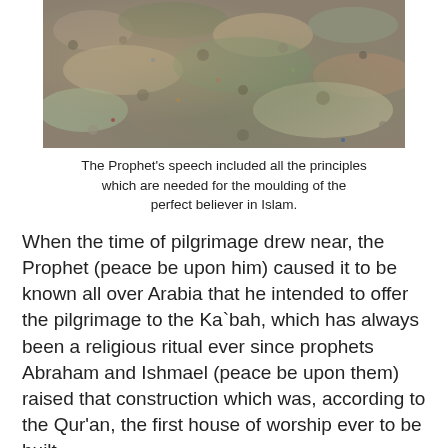[Figure (photo): Close-up photograph of rocky or gravelly terrain with mixed earth tones — brown, grey, green, and tan stones or pebbles.]
The Prophet's speech included all the principles which are needed for the moulding of the perfect believer in Islam.
When the time of pilgrimage drew near, the Prophet (peace be upon him) caused it to be known all over Arabia that he intended to offer the pilgrimage to the Ka`bah, which has always been a religious ritual ever since prophets Abraham and Ishmael (peace be upon them) raised that construction which was, according to the Qur'an, the first house of worship ever to be built.
It was not surprising that people started to